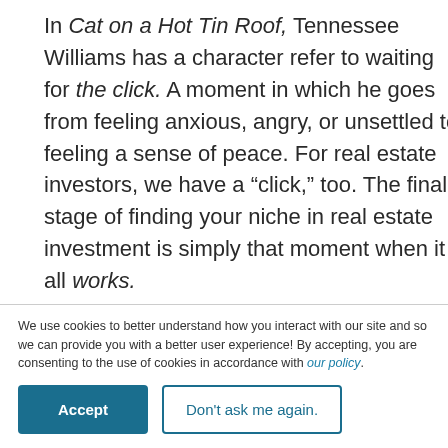In Cat on a Hot Tin Roof, Tennessee Williams has a character refer to waiting for the click. A moment in which he goes from feeling anxious, angry, or unsettled to feeling a sense of peace. For real estate investors, we have a “click,” too. The final stage of finding your niche in real estate investment is simply that moment when it all works. You realize that yes — this is it! Sure, you might have other types of real estate investments and continue
[Figure (illustration): Accessibility icon: circular blue icon with a stylized person figure in white, indicating accessibility/wheelchair access]
We use cookies to better understand how you interact with our site and so we can provide you with a better user experience! By accepting, you are consenting to the use of cookies in accordance with our policy.